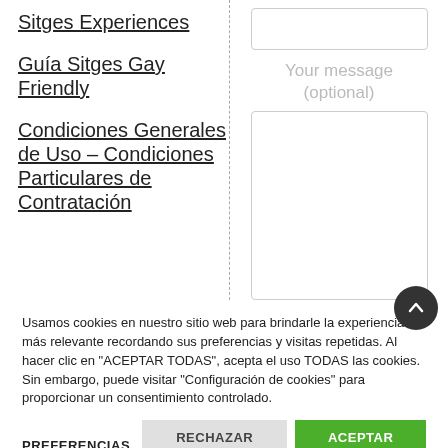Sitges Experiences
Guía Sitges Gay Friendly
Condiciones Generales de Uso – Condiciones Particulares de Contratación
Your message (optional)
Usamos cookies en nuestro sitio web para brindarle la experiencia más relevante recordando sus preferencias y visitas repetidas. Al hacer clic en "ACEPTAR TODAS", acepta el uso TODAS las cookies. Sin embargo, puede visitar "Configuración de cookies" para proporcionar un consentimiento controlado.
PREFERENCIAS
RECHAZAR TODAS
ACEPTAR TODO